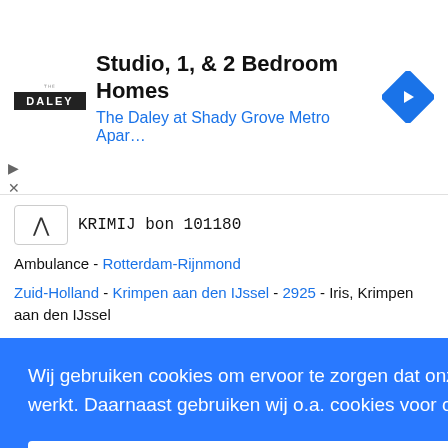[Figure (screenshot): Advertisement banner for 'The Daley at Shady Grove Metro Apartments' showing logo, headline 'Studio, 1, & 2 Bedroom Homes', subtitle 'The Daley at Shady Grove Metro Apar...', and a blue navigation icon.]
KRIMIJ bon 101180
Ambulance - Rotterdam-Rijnmond
Zuid-Holland - Krimpen aan den IJssel - 2925 - Iris, Krimpen aan den IJssel
Wij gebruiken cookies om ervoor te zorgen dat onze website voor de bezoeker beter werkt. Daarnaast gebruiken wij o.a. cookies voor onze webstatistieken. Lees meer
Oké!